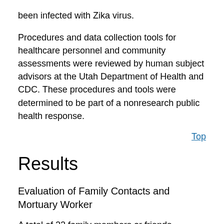been infected with Zika virus.
Procedures and data collection tools for healthcare personnel and community assessments were reviewed by human subject advisors at the Utah Department of Health and CDC. These procedures and tools were determined to be part of a nonresearch public health response.
Top
Results
Evaluation of Family Contacts and Mortuary Worker
A total of 22 family members or friends potentially interacted with the index patient from his return to